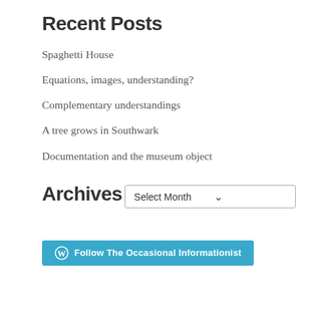Recent Posts
Spaghetti House
Equations, images, understanding?
Complementary understandings
A tree grows in Southwark
Documentation and the museum object
Archives
Select Month
Follow The Occasional Informationist